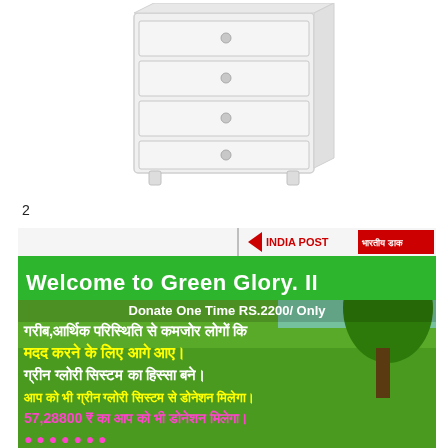[Figure (illustration): Line drawing illustration of a chest of drawers / dresser with multiple drawers, rendered in light gray/white tones]
2
[Figure (infographic): Green Glory India Post promotional banner. Text: 'Welcome to Green Glory. II', 'Donate One Time RS.2200/ Only', Hindi text: 'गरीब,आर्थिक परिस्थिति से कमजोर लोगों कि मदद करने के लिए आगे आए।', 'ग्रीन ग्लोरी सिस्टम का हिस्सा बने।', 'आप को भी ग्रीन ग्लोरी सिस्टम से डोनेशन मिलेगा।', '57,28800 ₹ का आप को भी डोनेशन मिलेगा।']